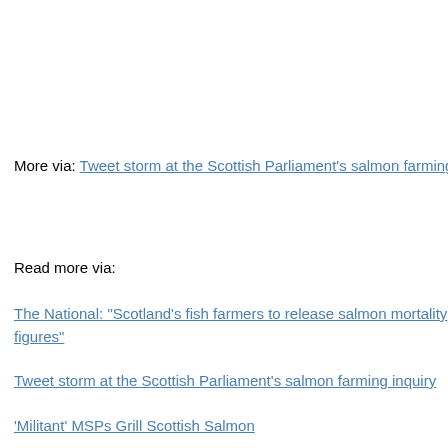More via: Tweet storm at the Scottish Parliament's salmon farming inquiry
Read more via:
The National: "Scotland's fish farmers to release salmon mortality figures"
Tweet storm at the Scottish Parliament's salmon farming inquiry
'Militant' MSPs Grill Scottish Salmon
Update: Scottish Parliament inquiry into the environmental impacts of salmon farm